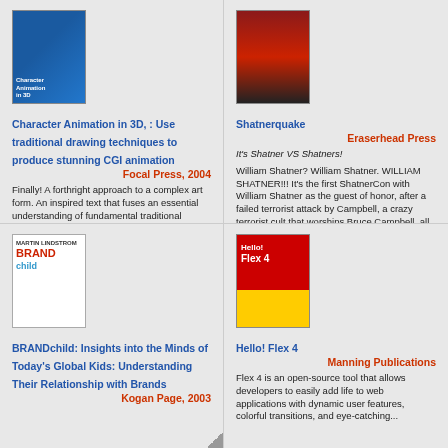[Figure (illustration): Book cover for Character Animation in 3D]
Character Animation in 3D, : Use traditional drawing techniques to produce stunning CGI animation
Focal Press, 2004
Finally! A forthright approach to a complex art form. An inspired text that fuses an essential understanding of fundamental traditional methods and technology.
Rita Osei, Animation & Graphics Producer, Cartoon Network, Boomerang, Toonami

It was surely a matter of time before a publication like this emerged. An understanding of...
[Figure (illustration): Book cover for Shatnerquake]
Shatnerquake
Eraserhead Press
It's Shatner VS Shatners!
William Shatner? William Shatner. WILLIAM SHATNER!!! It's the first ShatnerCon with William Shatner as the guest of honor, after a failed terrorist attack by Campbell, a crazy terrorist cult that worships Bruce Campbell, all of the characters ever p... William Shatner are...
[Figure (illustration): Book cover for BRANDchild]
BRANDchild: Insights into the Minds of Today's Global Kids: Understanding Their Relationship with Brands
Kogan Page, 2003
[Figure (illustration): Book cover for Hello! Flex 4]
Hello! Flex 4
Manning Publications
Flex 4 is an open-source tool that allows developers to easily add life to web applications with dynamic user features, colorful transitions, and eye-catching...